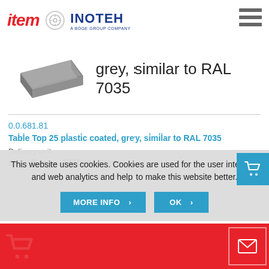[Figure (logo): item and INOTEH brand logos with hamburger menu icon in the page header]
[Figure (photo): Grey plastic-coated table top panel shown in perspective/isometric view, similar to RAL 7035 grey color]
grey, similar to RAL 7035
0.0.681.81
Table Top 25 plastic coated, grey, similar to RAL 7035
Delivery unit
cut-off max. 2770x2040 mm
This website uses cookies. Cookies are used for the user interface and web analytics and help to make this website better.